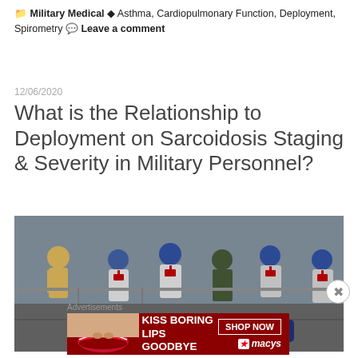Military Medical  Asthma, Cardiopulmonary Function, Deployment, Spirometry  Leave a comment
12/06/2020
What is the Relationship to Deployment on Sarcoidosis Staging & Severity in Military Personnel?
[Figure (photo): Military medical personnel in white vests with red crosses and blue helmets performing medical procedures on a casualty on a ship deck]
Advertisements
[Figure (infographic): Macy's advertisement: KISS BORING LIPS GOODBYE with SHOP NOW button and macys logo with red star]